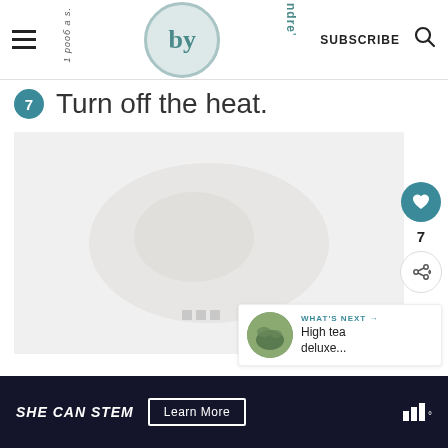by | SUBSCRIBE
7 Turn off the heat.
[Figure (photo): Blurred food/cooking photo placeholder with dots indicator showing step 7 image]
7
WHAT'S NEXT → High tea deluxe...
SHE CAN STEM  Learn More